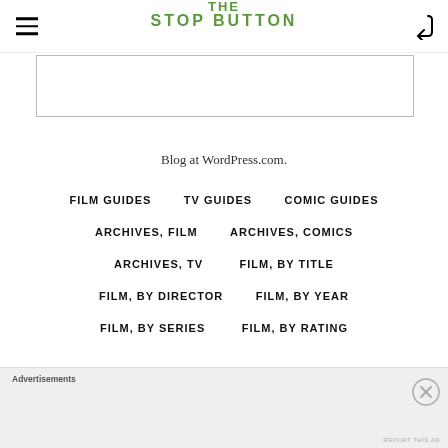THE STOP BUTTON
[Figure (other): Advertisement placeholder box]
Blog at WordPress.com.
FILM GUIDES
TV GUIDES
COMIC GUIDES
ARCHIVES, FILM
ARCHIVES, COMICS
ARCHIVES, TV
FILM, BY TITLE
FILM, BY DIRECTOR
FILM, BY YEAR
FILM, BY SERIES
FILM, BY RATING
Advertisements